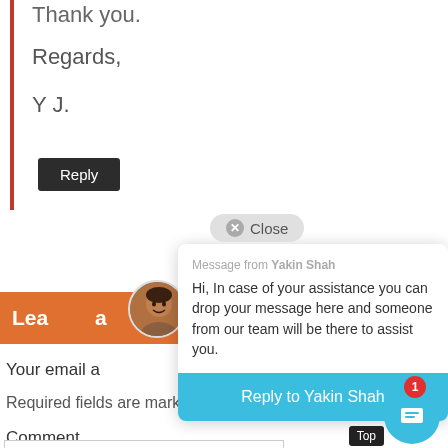Thank you.
Regards,
Y J.
Reply
Lea    a
Your email a
Required fields are marked
Comment
[Figure (screenshot): Chat popup overlay showing message from Yakin Shah with close button and reply button]
Close
Message from Yakin Shah
Hi, In case of your assistance you can drop your message here and someone from our team will be there to assist you.
Reply to Yakin Shah
1
Top